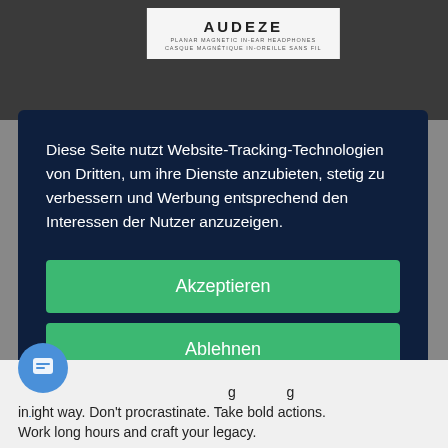[Figure (photo): Product box for Audeze planar magnetic in-ear headphones, held against a dark background]
Diese Seite nutzt Website-Tracking-Technologien von Dritten, um ihre Dienste anzubieten, stetig zu verbessern und Werbung entsprechend den Interessen der Nutzer anzuzeigen.
Akzeptieren
Ablehnen
mehr
Powered by usercentrics &
ight way. Don't procrastinate. Take bold actions.
Work long hours and craft your legacy.